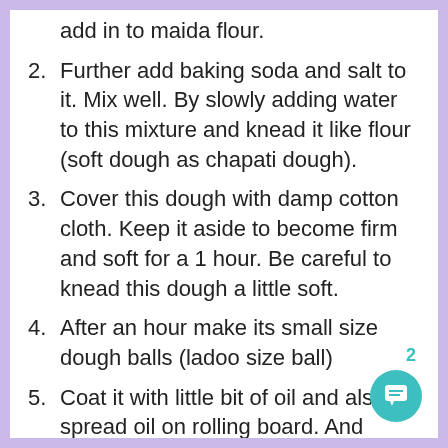add in to maida flour.
Further add baking soda and salt to it. Mix well. By slowly adding water to this mixture and knead it like flour (soft dough as chapati dough).
Cover this dough with damp cotton cloth. Keep it aside to become firm and soft for a 1 hour. Be careful to knead this dough a little soft.
After an hour make its small size dough balls (ladoo size ball)
Coat it with little bit of oil and also spread oil on rolling board. And apply little bit of oil around rolling pin to avoid sticking dough ball while rolling. Start flattened it like chapati.